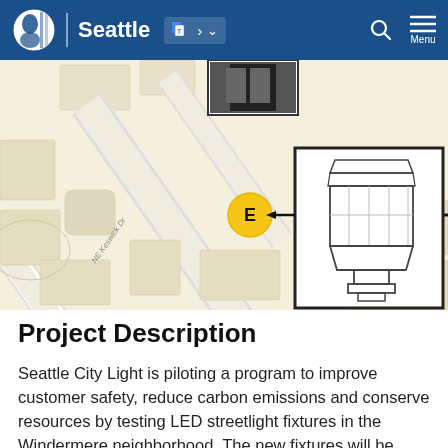Seattle
[Figure (map): Street map showing NE Windermere Rd and NE Keswick Dr intersection with a yellow circle marker labeled 'E' and an arrow pointing to a line drawing of a streetlight fixture (lantern-style) shown in a box to the right.]
Project Description
Seattle City Light is piloting a program to improve customer safety, reduce carbon emissions and conserve resources by testing LED streetlight fixtures in the Windermere neighborhood. The new fixtures will be evaluated for appearance, historical integrity and light